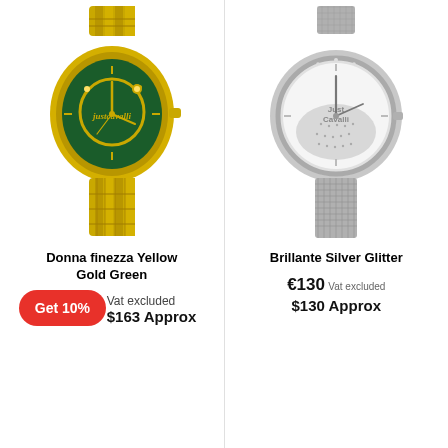[Figure (photo): Just Cavalli Donna finezza Yellow Gold Green watch with gold bracelet and green dial with snake motif]
Donna finezza Yellow Gold Green
Get 10%
Vat excluded
$163 Approx
[Figure (photo): Just Cavalli Brillante Silver Glitter watch with silver mesh bracelet and crystal-embellished dial]
Brillante Silver Glitter
€130 Vat excluded
$130 Approx